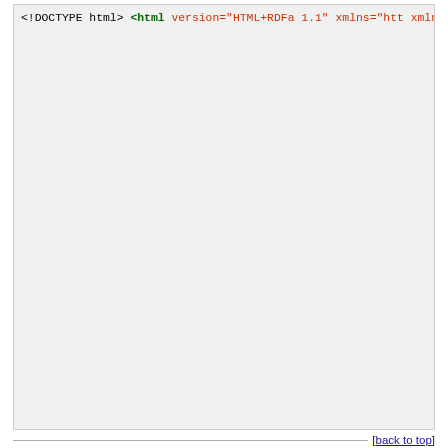[Figure (screenshot): Code snippet showing HTML with RDFa markup including DOCTYPE, html tag with xmlns attributes, head with meta and title tags, meta tags for og:title, og:type, og:url, og:image, og:site_name, fb:admins, og:description, closing head, body tag with HTML comment, example text, GoodRelations comment, closing body and html tags.]
[back to top]
RDF/XML Dump
You can fetch an RDF/XML representation of